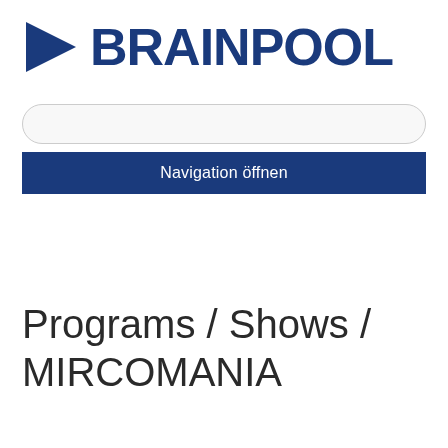[Figure (logo): Brainpool logo with blue play button triangle icon and BRAINPOOL text in bold dark blue]
[Figure (screenshot): Search input box (rounded rectangle, light gray background)]
Navigation öffnen
Programs / Shows / MIRCOMANIA